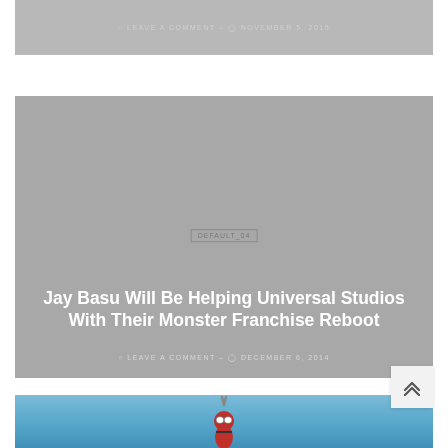[Figure (screenshot): Gray card top strip with 'LEAVE A COMMENT — NOVEMBER 5, 2015' meta text]
LEAVE A COMMENT — NOVEMBER 5, 2015
[Figure (screenshot): Gray card with article title 'Jay Basu Will Be Helping Universal Studios With Their Monster Franchise Reboot' and meta text 'LEAVE A COMMENT — DECEMBER 6, 2014']
Jay Basu Will Be Helping Universal Studios With Their Monster Franchise Reboot
LEAVE A COMMENT — DECEMBER 6, 2014
[Figure (photo): Deadpool character photo with blue sky background, partially visible at bottom of page]